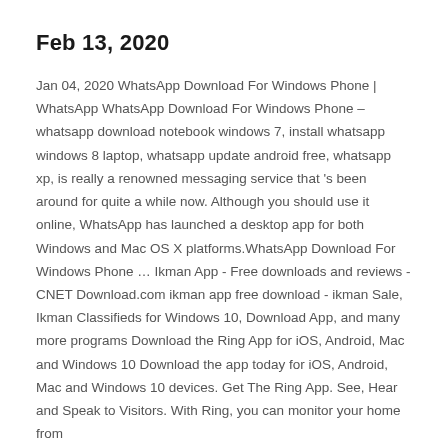Feb 13, 2020
Jan 04, 2020 WhatsApp Download For Windows Phone | WhatsApp WhatsApp Download For Windows Phone – whatsapp download notebook windows 7, install whatsapp windows 8 laptop, whatsapp update android free, whatsapp xp, is really a renowned messaging service that 's been around for quite a while now. Although you should use it online, WhatsApp has launched a desktop app for both Windows and Mac OS X platforms.WhatsApp Download For Windows Phone … Ikman App - Free downloads and reviews - CNET Download.com ikman app free download - ikman Sale, Ikman Classifieds for Windows 10, Download App, and many more programs Download the Ring App for iOS, Android, Mac and Windows 10 Download the app today for iOS, Android, Mac and Windows 10 devices. Get The Ring App. See, Hear and Speak to Visitors. With Ring, you can monitor your home from